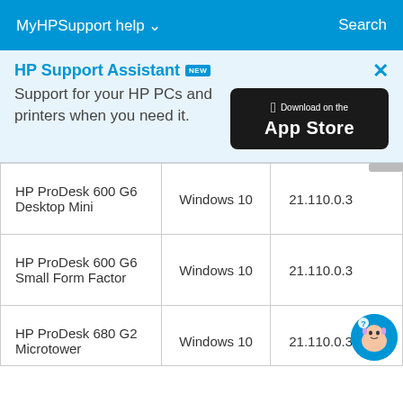MyHPSupport help ∨   Search
HP Support Assistant NEW
Support for your HP PCs and printers when you need it.
[Figure (logo): Download on the App Store badge (black background with Apple logo)]
| HP ProDesk 600 G6 Desktop Mini | Windows 10 | 21.110.0.3 |
| HP ProDesk 600 G6 Small Form Factor | Windows 10 | 21.110.0.3 |
| HP ProDesk 680 G2 Microtower | Windows 10 | 21.110.0.3 |